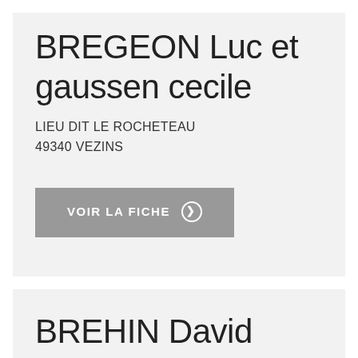BREGEON Luc et gaussen cecile
LIEU DIT LE ROCHETEAU
49340 VEZINS
VOIR LA FICHE
BREHIN David
Le Haut Beauvais
53810 CHANGE